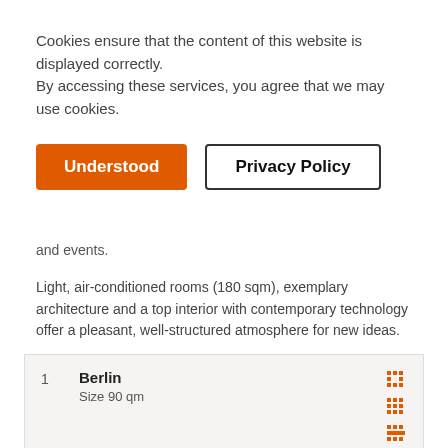Cookies ensure that the content of this website is displayed correctly.
By accessing these services, you agree that we may use cookies.
Understood | Privacy Policy
and events.
Light, air-conditioned rooms (180 sqm), exemplary architecture and a top interior with contemporary technology offer a pleasant, well-structured atmosphere for new ideas.
| # | Name | Icons |
| --- | --- | --- |
| 1 | Berlin
Size 90 qm |  |
| 2 | Berlin & Düsseldorf
Size 150 qm |  |